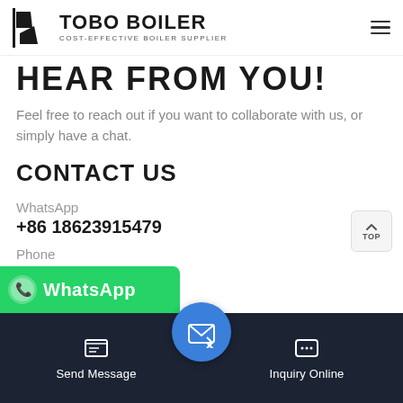TOBO BOILER — COST-EFFECTIVE BOILER SUPPLIER
HEAR FROM YOU!
Feel free to reach out if you want to collaborate with us, or simply have a chat.
CONTACT US
WhatsApp
+86 18623915479
Phone
+86-371-60922096
Email
price@boilermanufactory.com
[Figure (screenshot): WhatsApp button banner (green) with WhatsApp logo and text 'WhatsApp']
[Figure (infographic): Bottom navigation bar with 'Send Message' and 'Inquiry Online' buttons and a central blue email/message circle button]